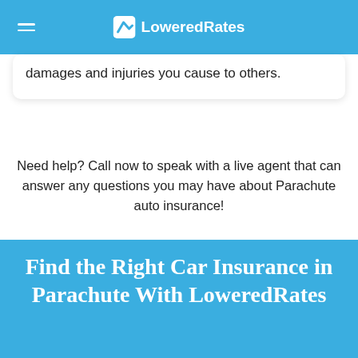LoweredRates
damages and injuries you cause to others.
Need help? Call now to speak with a live agent that can answer any questions you may have about Parachute auto insurance!
(888) 205-9481
Find the Right Car Insurance in Parachute With LoweredRates